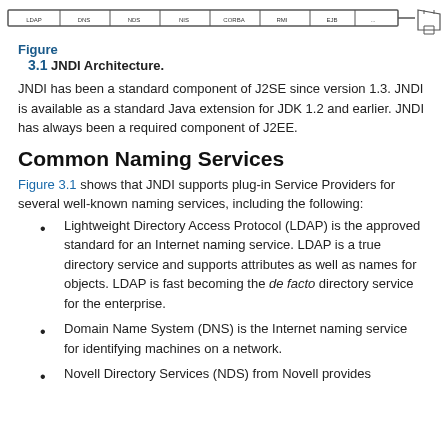[Figure (illustration): Top portion of a JNDI Architecture diagram showing a horizontal pipeline/bus with labeled components and a printer icon at the right end.]
Figure
3.1 JNDI Architecture.
JNDI has been a standard component of J2SE since version 1.3. JNDI is available as a standard Java extension for JDK 1.2 and earlier. JNDI has always been a required component of J2EE.
Common Naming Services
Figure 3.1 shows that JNDI supports plug-in Service Providers for several well-known naming services, including the following:
Lightweight Directory Access Protocol (LDAP) is the approved standard for an Internet naming service. LDAP is a true directory service and supports attributes as well as names for objects. LDAP is fast becoming the de facto directory service for the enterprise.
Domain Name System (DNS) is the Internet naming service for identifying machines on a network.
Novell Directory Services (NDS) from Novell provides